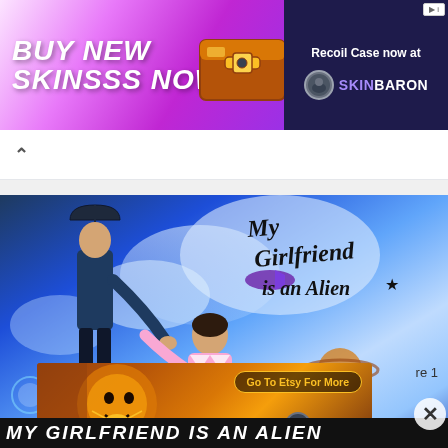[Figure (screenshot): Top banner advertisement for SkinBaron showing 'BUY NEW SKINSSS NOW' with a golden chest graphic on a purple gradient background, and 'Recoil Case now at SKINBARON' on dark blue right side]
[Figure (screenshot): Browser navigation bar showing a back arrow on white background]
[Figure (photo): Promotional artwork for 'My Girlfriend is an Alien' Chinese drama showing a man in suit floating with umbrella on left, a woman in pink jacket reaching out in center, against a blue sky with clouds and planets. Title text in stylized script on upper right.]
[Figure (photo): Etsy advertisement banner showing colorful folk art with a sun face and bee motif on orange/gold background, with 'Go To Etsy For More' button and 'Jurga Creations' logo]
re 1
MY GIRLFRIEND IS AN ALIEN